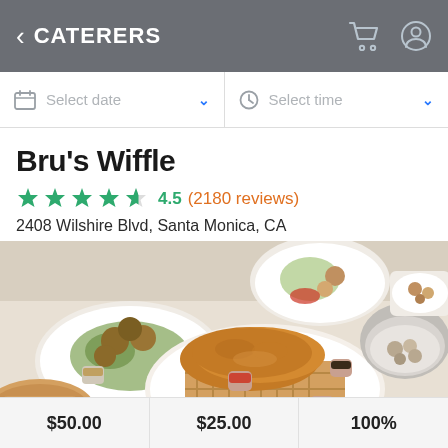< CATERERS
Select date
Select time
Bru's Wiffle
4.5 (2180 reviews)
2408 Wilshire Blvd, Santa Monica, CA
[Figure (photo): Food photo showing fried chicken on waffles with dipping sauces, salads, and other dishes on white plates. Badge reads '1X REWARDS']
$50.00   $25.00   100%